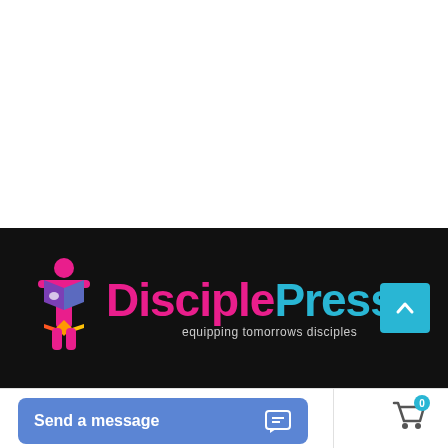[Figure (logo): DisciplePress logo on black background with stylized figure reading a book icon in pink/purple/orange, text 'Disciple' in pink and 'Press' in cyan, tagline 'equipping tomorrows disciples' in light gray]
[Figure (other): Blue scroll-to-top arrow button (chevron up) in cyan/light blue square]
[Figure (other): Blue 'Send a message' button with chat icon on the left side of bottom bar]
[Figure (other): Shopping cart icon with cyan badge showing '0' count]